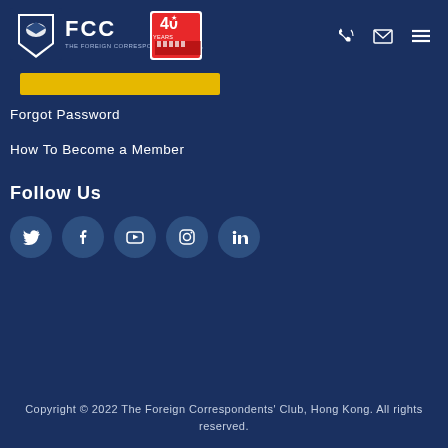[Figure (logo): FCC Foreign Correspondents Club Hong Kong logo with 40 years anniversary badge]
[Figure (other): Yellow login button bar with a small cursor icon]
Forgot Password
How To Become a Member
Follow Us
[Figure (other): Social media icons: Twitter, Facebook, YouTube, Instagram, LinkedIn]
Copyright © 2022 The Foreign Correspondents' Club, Hong Kong. All rights reserved.